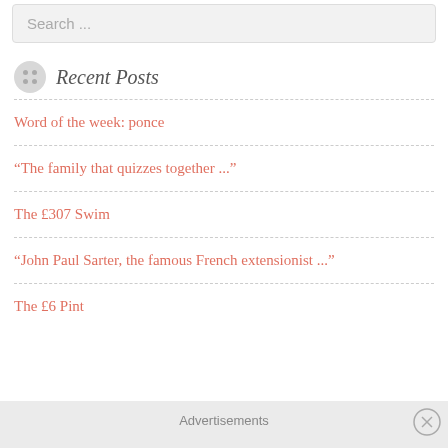Search ...
Recent Posts
Word of the week: ponce
“The family that quizzes together ...”
The £307 Swim
“John Paul Sarter, the famous French extensionist ...”
The £6 Pint
Advertisements